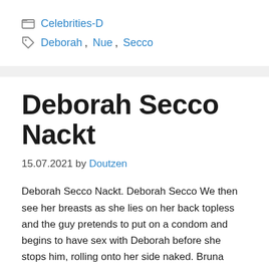Categories: Celebrities-D
Tags: Deborah, Nue, Secco
Deborah Secco Nackt
15.07.2021 by Doutzen
Deborah Secco Nackt. Deborah Secco We then see her breasts as she lies on her back topless and the guy pretends to put on a condom and begins to have sex with Deborah before she stops him, rolling onto her side naked. Bruna Surfistinha Deborah